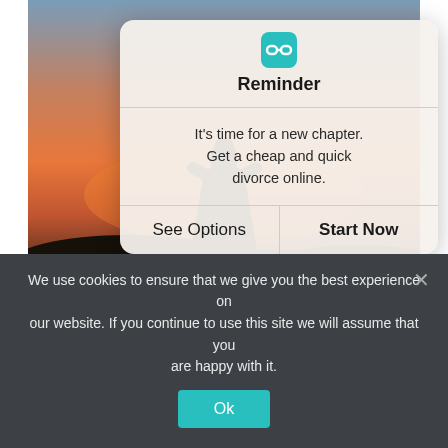[Figure (screenshot): Mobile app screenshot showing a person sitting in a field at sunset viewed from behind, wearing a black dress. Overlaid is an iOS-style alert dialog with the title 'Reminder', body text 'It's time for a new chapter. Get a cheap and quick divorce online.', and two buttons: 'See Options' and 'Start Now'.]
Reminder
It's time for a new chapter. Get a cheap and quick divorce online.
See Options
Start Now
We use cookies to ensure that we give you the best experience on our website. If you continue to use this site we will assume that you are happy with it.
Ok